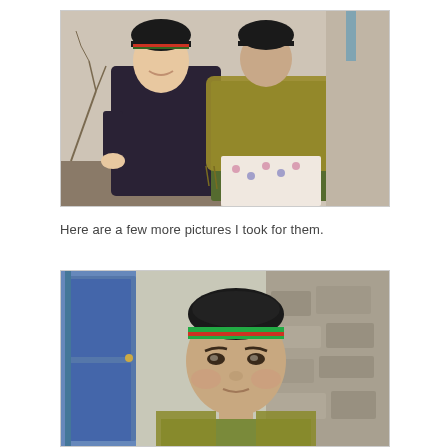[Figure (photo): Two women posing together in front of a whitewashed wall. The woman on the left is smiling and wearing a dark floral dress with a black and green cap. The woman on the right is wearing a yellow/olive green shawl and a patterned skirt with a black cap.]
Here are a few more pictures I took for them.
[Figure (photo): Close-up portrait of a young woman wearing a traditional black cap with green and red band trim and an olive/yellow-green top, standing in front of a blue door and stone wall.]